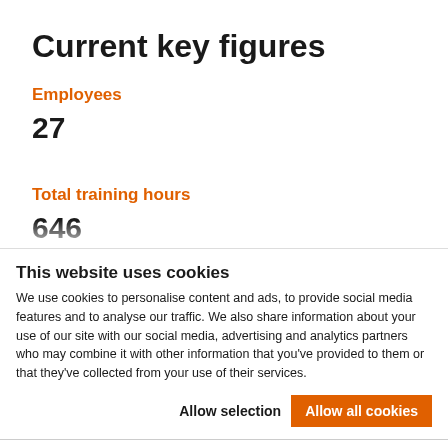Current key figures
Employees
27
Total training hours
646
This website uses cookies
We use cookies to personalise content and ads, to provide social media features and to analyse our traffic. We also share information about your use of our site with our social media, advertising and analytics partners who may combine it with other information that you've provided to them or that they've collected from your use of their services.
Allow selection
Allow all cookies
Necessary  Preferences  Statistics  Marketing  Show details